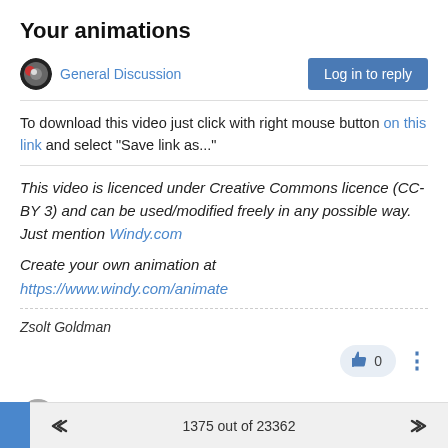Your animations
General Discussion
To download this video just click with right mouse button on this link and select "Save link as..."
This video is licenced under Creative Commons licence (CC-BY 3) and can be used/modified freely in any possible way. Just mention Windy.com
Create your own animation at https://www.windy.com/animate
Zsolt Goldman
0
giordospasxal
Jul 13, 2019, 9:28 AM
1375 out of 23362